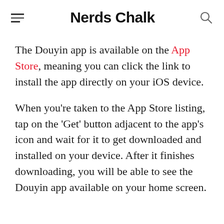Nerds Chalk
The Douyin app is available on the App Store, meaning you can click the link to install the app directly on your iOS device.
When you're taken to the App Store listing, tap on the 'Get' button adjacent to the app's icon and wait for it to get downloaded and installed on your device. After it finishes downloading, you will be able to see the Douyin app available on your home screen.